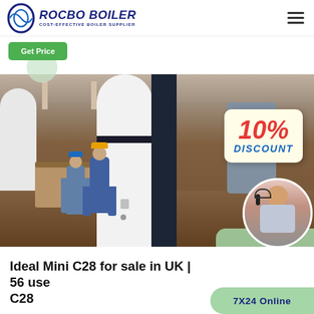ROCBO BOILER — COST-EFFECTIVE BOILER SUPPLIER
[Figure (photo): Factory warehouse interior showing industrial boilers/tanks (white and navy cylindrical boilers), workers in blue coveralls and hard hats, packaged equipment, with a '10% DISCOUNT' promotional badge overlay and a customer service representative circle photo in foreground]
Ideal Mini C28 for sale in UK | 56 used Ideal Mini C28